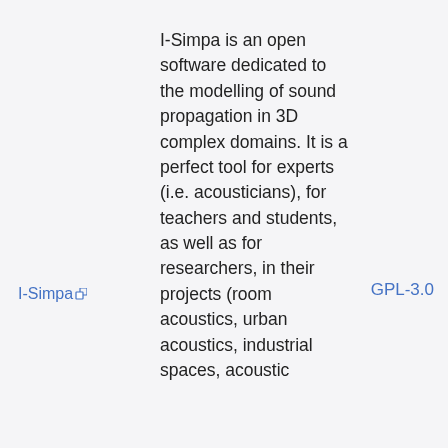I-Simpa is an open software dedicated to the modelling of sound propagation in 3D complex domains. It is a perfect tool for experts (i.e. acousticians), for teachers and students, as well as for researchers, in their projects (room acoustics, urban acoustics, industrial spaces, acoustic
I-Simpa
GPL-3.0